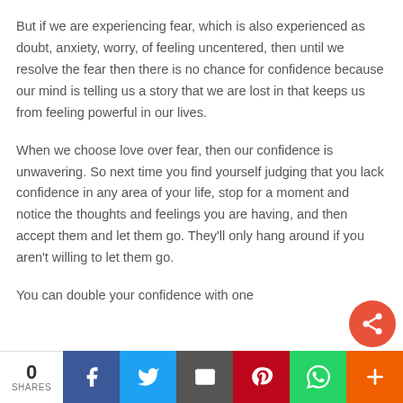But if we are experiencing fear, which is also experienced as doubt, anxiety, worry, of feeling uncentered, then until we resolve the fear then there is no chance for confidence because our mind is telling us a story that we are lost in that keeps us from feeling powerful in our lives.
When we choose love over fear, then our confidence is unwavering. So next time you find yourself judging that you lack confidence in any area of your life, stop for a moment and notice the thoughts and feelings you are having, and then accept them and let them go. They'll only hang around if you aren't willing to let them go.
You can double your confidence with one
0 SHARES